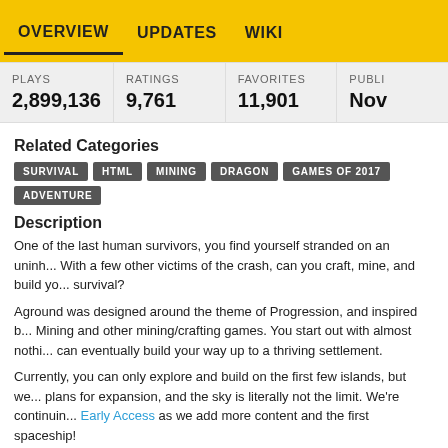OVERVIEW   UPDATES   WIKI
| PLAYS | RATINGS | FAVORITES | PUBLI... |
| --- | --- | --- | --- |
| 2,899,136 | 9,761 | 11,901 | Nov |
Related Categories
SURVIVAL
HTML
MINING
DRAGON
GAMES OF 2017
ADVENTURE
Description
One of the last human survivors, you find yourself stranded on an uninh... With a few other victims of the crash, can you craft, mine, and build you... survival?
Aground was designed around the theme of Progression, and inspired b... Mining and other mining/crafting games. You start out with almost nothi... can eventually build your way up to a thriving settlement.
Currently, you can only explore and build on the first few islands, but we... plans for expansion, and the sky is literally not the limit. We're continuin... Early Access as we add more content and the first spaceship!
We're planning to continue developing Aground based on feedback ano... from players, so definitely send me a message or post in our subreddit